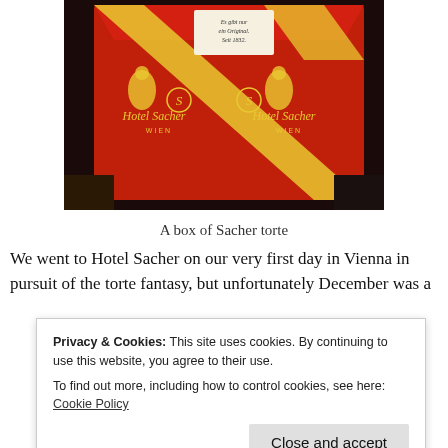[Figure (photo): A red box of Sacher torte with gold ribbon and Hotel Sacher Wien branding, held in hands]
A box of Sacher torte
We went to Hotel Sacher on our very first day in Vienna in pursuit of the torte fantasy, but unfortunately December was a
Privacy & Cookies: This site uses cookies. By continuing to use this website, you agree to their use.
To find out more, including how to control cookies, see here: Cookie Policy
Close and accept